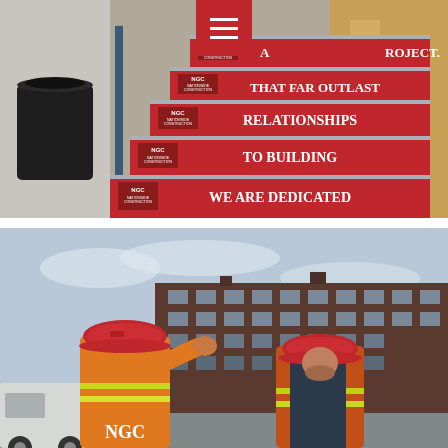[Figure (photo): Staircase with red risers branded with NGC logo and text reading (bottom to top): 'WE ARE DEDICATED', 'TO BUILDING', 'RELATIONSHIPS', 'THAT FAR OUTLAST', 'A [PROJECT].' A red menu icon overlay appears at top center. A black trash can is visible on the left.]
[Figure (photo): Two construction workers in orange safety vests, hard hats, and safety glasses standing outdoors in front of a multi-story brick building. The worker on the left wears an orange hoodie and has 'NGC' printed on the back of his vest; he is gesturing with his hand toward the building. A white truck is partially visible on the left.]